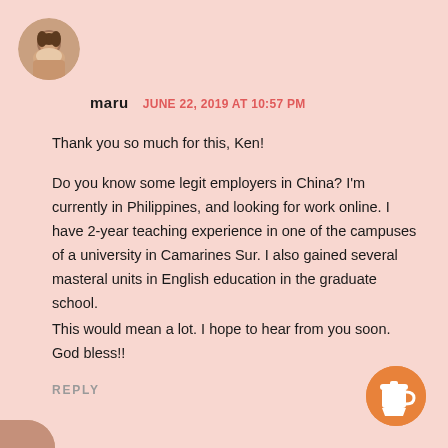[Figure (photo): Circular avatar photo of a woman]
maru   JUNE 22, 2019 AT 10:57 PM
Thank you so much for this, Ken!
Do you know some legit employers in China? I'm currently in Philippines, and looking for work online. I have 2-year teaching experience in one of the campuses of a university in Camarines Sur. I also gained several masteral units in English education in the graduate school.
This would mean a lot. I hope to hear from you soon. God bless!!
REPLY
[Figure (illustration): Orange circular button with coffee cup icon]